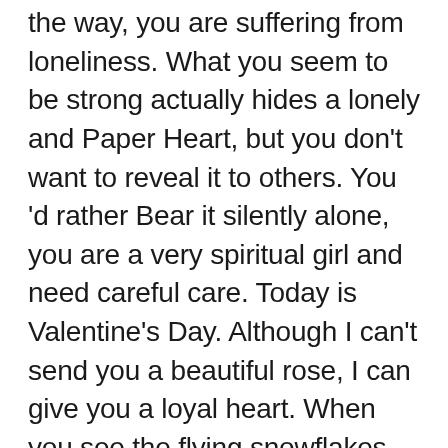the way, you are suffering from loneliness. What you seem to be strong actually hides a lonely and Paper Heart, but you don't want to reveal it to others. You 'd rather Bear it silently alone, you are a very spiritual girl and need careful care. Today is Valentine's Day. Although I can't send you a beautiful rose, I can give you a loyal heart. When you see the flying snowflakes, that is the blossoming rose I ordered for you in Temple of Heaven, which will make your life more beautiful and happy. After you left that day, loss and emptiness attacked me. I really want to keep you and walk with you. Do you know? Looking at your tired body, I am very sad. If I could rather suffer or suffer, I feel happy and happy even though I am bitter and tired with you. I believe that you belong to me all my life. I can no longer get out of the